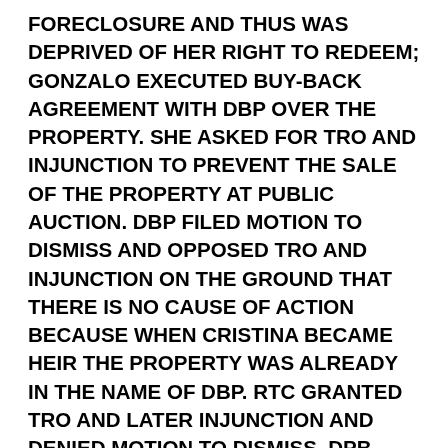FORECLOSURE AND THUS WAS DEPRIVED OF HER RIGHT TO REDEEM; GONZALO EXECUTED BUY-BACK AGREEMENT WITH DBP OVER THE PROPERTY. SHE ASKED FOR TRO AND INJUNCTION TO PREVENT THE SALE OF THE PROPERTY AT PUBLIC AUCTION. DBP FILED MOTION TO DISMISS AND OPPOSED TRO AND INJUNCTION ON THE GROUND THAT THERE IS NO CAUSE OF ACTION BECAUSE WHEN CRISTINA BECAME HEIR THE PROPERTY WAS ALREADY IN THE NAME OF DBP. RTC GRANTED TRO AND LATER INJUNCTION AND DENIED MOTION TO DISMISS. DPB MOVED FOR RECON. RTC DENIED. DBP FILED AN ANSWER AD CAUTELAM AND ALSO FILED PETITIONS AT CA RE THE TRO, INJUNCTION AND DENIAL OF MOTION TO DISMISS.  CA DENIED PETITIONS FOR BEING FILED OUT OF TIME. CA ALSO DENIED THE MOTION TO